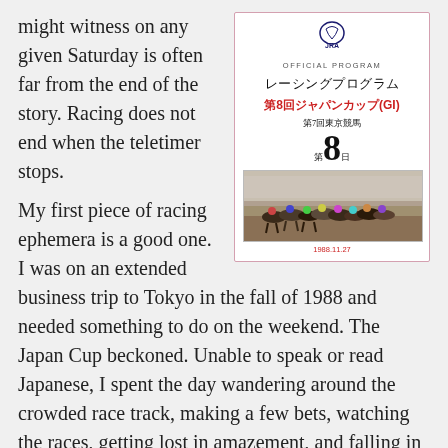might witness on any given Saturday is often far from the end of the story. Racing does not end when the teletimer stops.
[Figure (photo): Official program for the 8th Japan Cup (G1) horse race, 1988-11-27. JRA logo at top, Japanese text reading レーシングプログラム (Racing Program), 第8回ジャパンカップ(G1) in red, 第7回東京競馬 and 第8日 below, with a photo of horses racing at the bottom.]
My first piece of racing ephemera is a good one. I was on an extended business trip to Tokyo in the fall of 1988 and needed something to do on the weekend. The Japan Cup beckoned. Unable to speak or read Japanese, I spent the day wandering around the crowded race track, making a few bets, watching the races, getting lost in amazement, and falling in love. That day I learned two things: That I knew close to